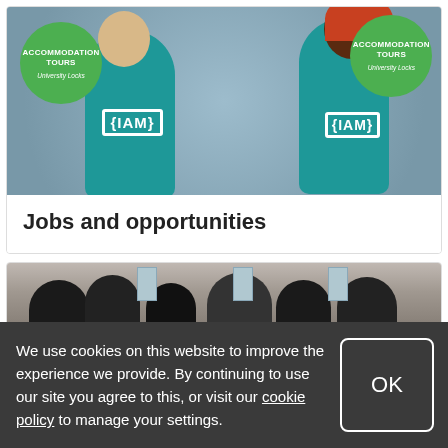[Figure (photo): Two students in teal 'IAM' t-shirts holding green circular 'Accommodation Tours – University Locks' paddle signs, standing outdoors]
Jobs and opportunities
[Figure (photo): People from behind queuing or gathered outside a building]
We use cookies on this website to improve the experience we provide. By continuing to use our site you agree to this, or visit our cookie policy to manage your settings.